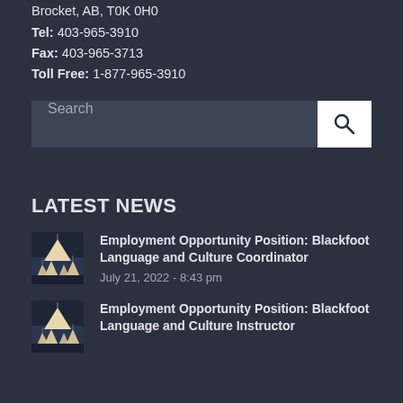Brocket, AB, T0K 0H0
Tel: 403-965-3910
Fax: 403-965-3713
Toll Free: 1-877-965-3910
[Figure (screenshot): Search bar with text input field and magnifying glass search button]
LATEST NEWS
Employment Opportunity Position: Blackfoot Language and Culture Coordinator
July 21, 2022 - 8:43 pm
Employment Opportunity Position: Blackfoot Language and Culture Instructor